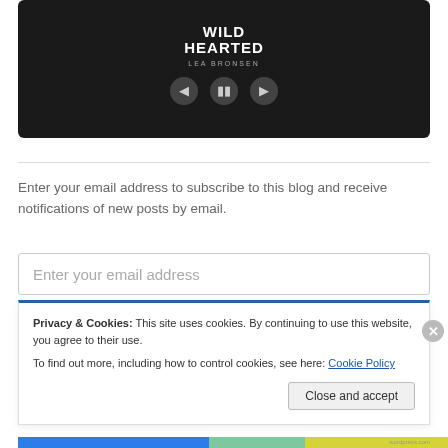[Figure (screenshot): Book audio player widget showing 'Wild Hearted' by Lea Bronsen with playback controls (previous, pause, next) on dark background]
Enter your email address to subscribe to this blog and receive notifications of new posts by email.
Enter your email address
Privacy & Cookies: This site uses cookies. By continuing to use this website, you agree to their use.
To find out more, including how to control cookies, see here: Cookie Policy
Close and accept